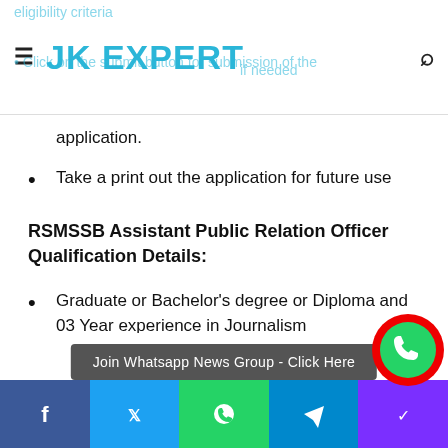JK EXPERT
application.
Take a print out the application for future use
RSMSSB Assistant Public Relation Officer Qualification Details:
Graduate or Bachelor's degree or Diploma and 03 Year experience in Journalism
RSMSSB Assistant Public Relation Officer Salary:
Pay Matrix L-10